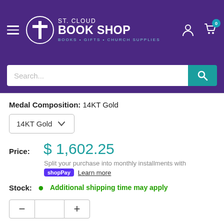St. Cloud Book Shop — Books · Gifts · Church Supplies
Medal Composition: 14KT Gold
14KT Gold (dropdown)
Price: $ 1,602.25
Split your purchase into monthly installments with Shop Pay Learn more
Stock: Additional shipping time may apply